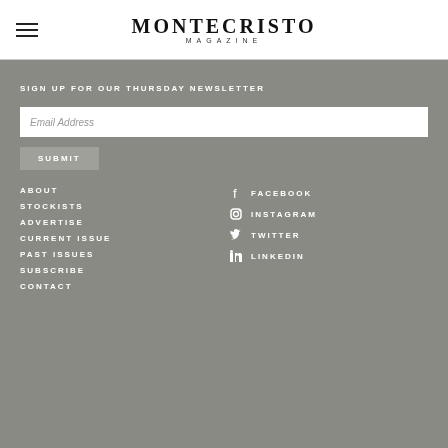MONTECRISTO MAGAZINE
SIGN UP FOR OUR THURSDAY NEWSLETTER
Email Address
SUBMIT
ABOUT
STOCKISTS
ADVERTISE
CURRENT ISSUE
PAST ISSUES
SUBSCRIBE
CONTACT
FACEBOOK
INSTAGRAM
TWITTER
LINKEDIN